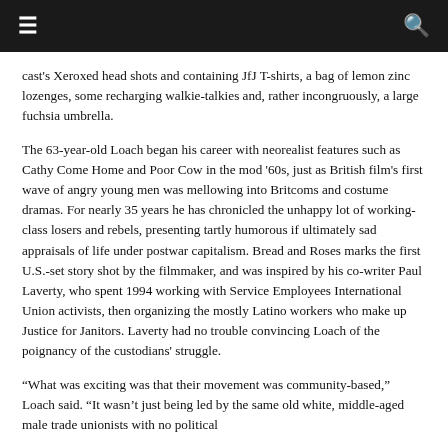≡  🔍
cast's Xeroxed head shots and containing JfJ T-shirts, a bag of lemon zinc lozenges, some recharging walkie-talkies and, rather incongruously, a large fuchsia umbrella.
The 63-year-old Loach began his career with neorealist features such as Cathy Come Home and Poor Cow in the mod '60s, just as British film's first wave of angry young men was mellowing into Britcoms and costume dramas. For nearly 35 years he has chronicled the unhappy lot of working-class losers and rebels, presenting tartly humorous if ultimately sad appraisals of life under postwar capitalism. Bread and Roses marks the first U.S.-set story shot by the filmmaker, and was inspired by his co-writer Paul Laverty, who spent 1994 working with Service Employees International Union activists, then organizing the mostly Latino workers who make up Justice for Janitors. Laverty had no trouble convincing Loach of the poignancy of the custodians' struggle.
“What was exciting was that their movement was community-based,” Loach said. “It wasn’t just being led by the same old white, middle-aged male trade unionists with no political